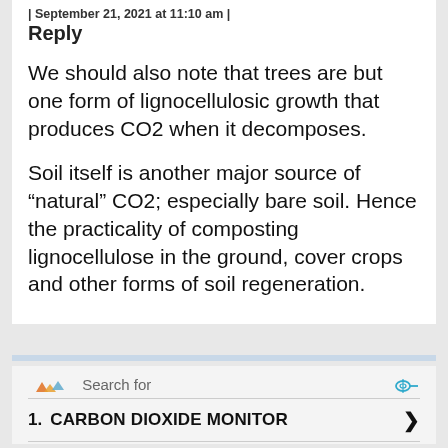| September 21, 2021 at 11:10 am | Reply
We should also note that trees are but one form of lignocellulosic growth that produces CO2 when it decomposes.
Soil itself is another major source of "natural" CO2; especially bare soil. Hence the practicality of composting lignocellulose in the ground, cover crops and other forms of soil regeneration.
[Figure (infographic): Search advertisement block with logo 'Search for', two list items: 1. CARBON DIOXIDE MONITOR, 2. CARBON FOOTPRINT CALCULATOR, sponsored by Cellphone Guru]